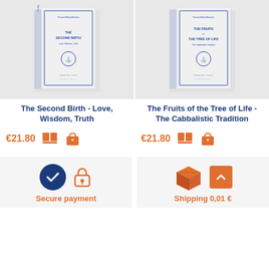[Figure (photo): Book cover of The Second Birth - Love, Wisdom, Truth by Omraam Mikhael Aivanhov]
[Figure (photo): Book cover of The Fruits of the Tree of Life - The Cabbalistic Tradition by Omraam Mikhael Aivanhov]
The Second Birth - Love, Wisdom, Truth
€21.80
The Fruits of the Tree of Life - The Cabbalistic Tradition
€21.80
Secure payment
Shipping 0,01 €